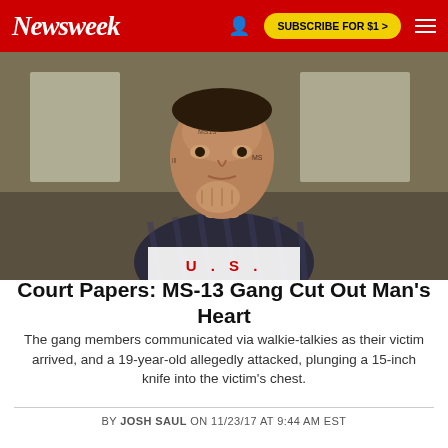Newsweek | SUBSCRIBE FOR $1 >
[Figure (photo): A man with extensive face tattoos, wearing a plaid shirt, seated and resting his chin on his fist against a blurred indoor background with windows.]
U . S .
Court Papers: MS-13 Gang Cut Out Man's Heart
The gang members communicated via walkie-talkies as their victim arrived, and a 19-year-old allegedly attacked, plunging a 15-inch knife into the victim’s chest.
BY JOSH SAUL ON 11/23/17 AT 9:44 AM EST